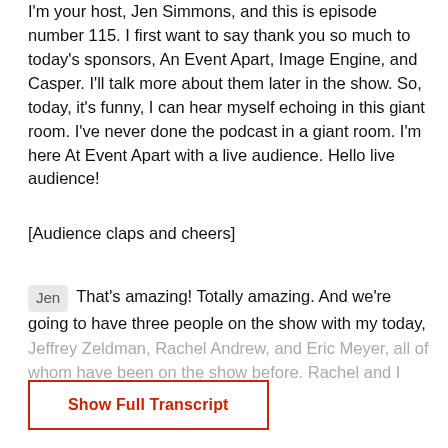I'm your host, Jen Simmons, and this is episode number 115. I first want to say thank you so much to today's sponsors, An Event Apart, Image Engine, and Casper. I'll talk more about them later in the show. So, today, it's funny, I can hear myself echoing in this giant room. I've never done the podcast in a giant room. I'm here At Event Apart with a live audience. Hello live audience!
[Audience claps and cheers]
Jen   That's amazing! Totally amazing. And we're going to have three people on the show with my today, Jeffrey Zeldman, Rachel Andrew, and Eric Meyer, all of whom have been on the show before. Rachel and I
Show Full Transcript